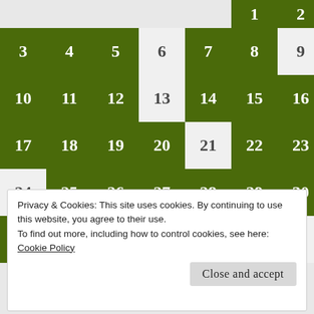[Figure (other): Calendar grid showing March dates. Top partial row shows 1 (green), 2 (green). Row: 3(green),4(green),5(green),6(white),7(green),8(green),9(white). Row: 10(green),11(green),12(green),13(white),14(green),15(green),16(green). Row: 17(green),18(green),19(green),20(green),21(white),22(green),23(green). Row: 24(white),25(green),26(green),27(green),28(green),29(green),30(green). Row: 31(green). Navigation: « Feb and Apr »]
Privacy & Cookies: This site uses cookies. By continuing to use this website, you agree to their use.
To find out more, including how to control cookies, see here:
Cookie Policy
Close and accept